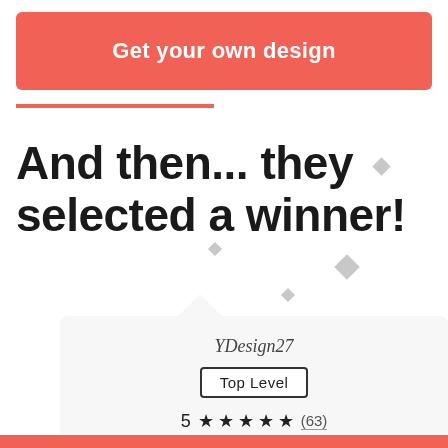Get your own design
And then... they selected a winner!
YDesign27
Top Level
5 ★★★★★ (63)